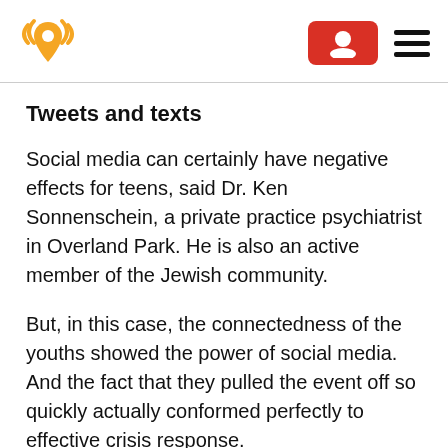[Logo: radio signal and location pin icon] [Subscribe button] [Hamburger menu]
Tweets and texts
Social media can certainly have negative effects for teens, said Dr. Ken Sonnenschein, a private practice psychiatrist in Overland Park. He is also an active member of the Jewish community.
But, in this case, the connectedness of the youths showed the power of social media. And the fact that they pulled the event off so quickly actually conformed perfectly to effective crisis response.